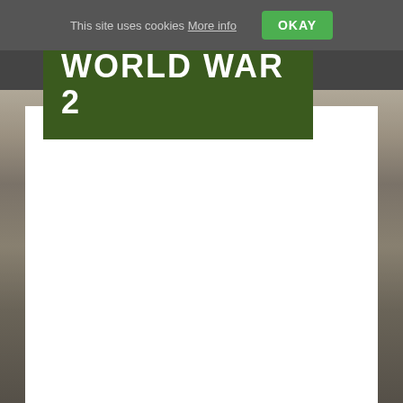This site uses cookies More info OKAY
Home   Contact   Link To Us
[Figure (photo): World War 2 black and white photograph showing a beach landing scene with soldiers and military equipment]
WORLD WAR 2